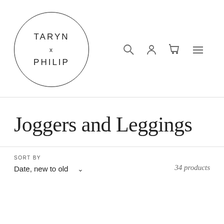[Figure (logo): Taryn x Philip brand logo: circle with text TARYN x PHILIP inside]
Joggers and Leggings
SORT BY
Date, new to old
34 products